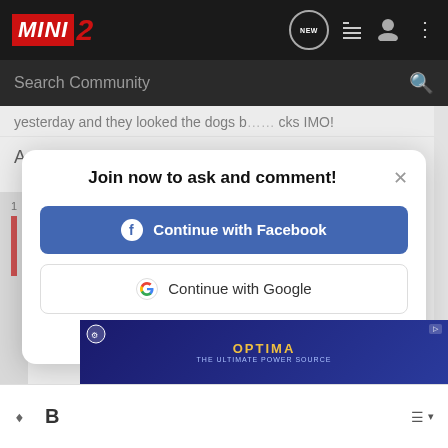MINI 2 — navigation bar with search
yesterday and they looked the dogs b… ...cks IMO!
Andy
Join now to ask and comment!
Continue with Facebook
Continue with Google
or sign up with email
[Figure (screenshot): Optima battery advertisement banner at bottom of screen]
Bottom toolbar with erase, bold B, and alignment icons